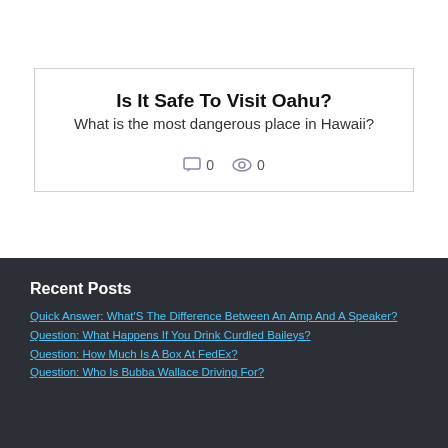Is It Safe To Visit Oahu?
What is the most dangerous place in Hawaii?
0  0
Recent Posts
Quick Answer: What'S The Difference Between An Amp And A Speaker?
Question: What Happens If You Drink Curdled Baileys?
Question: How Much Is A Box At FedEx?
Question: Who Is Bubba Wallace Driving For?